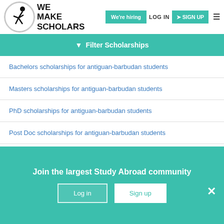[Figure (logo): We Make Scholars logo with silhouette figure and circular border]
We're hiring  LOG IN  SIGN UP
Filter Scholarships
Bachelors scholarships for antiguan-barbudan students
Masters scholarships for antiguan-barbudan students
PhD scholarships for antiguan-barbudan students
Post Doc scholarships for antiguan-barbudan students
Diploma scholarships for antiguan-barbudan students
Join the largest Study Abroad community
Log in  Sign up